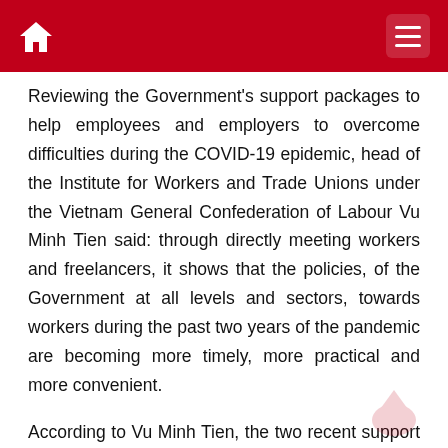Home | Menu
Reviewing the Government's support packages to help employees and employers to overcome difficulties during the COVID-19 epidemic, head of the Institute for Workers and Trade Unions under the Vietnam General Confederation of Labour Vu Minh Tien said: through directly meeting workers and freelancers, it shows that the policies, of the Government at all levels and sectors, towards workers during the past two years of the pandemic are becoming more timely, more practical and more convenient.
According to Vu Minh Tien, the two recent support packages under Resolution 68/NQ-CP and Resolution 116/NQ-CP, especially the support package from